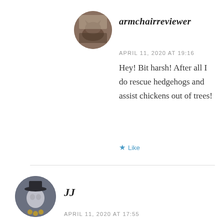[Figure (photo): Circular avatar image of armchairreviewer, showing a cat resting near a window]
armchairreviewer
APRIL 11, 2020 AT 19:16
Hey! Bit harsh! After all I do rescue hedgehogs and assist chickens out of trees!
★ Like
[Figure (photo): Circular avatar image of JJ, showing a masked figure with hat]
JJ
APRIL 11, 2020 AT 17:55